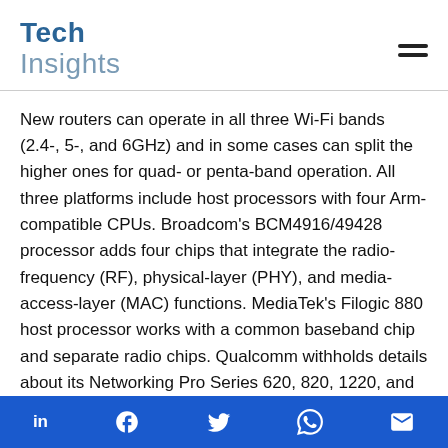TechInsights
New routers can operate in all three Wi-Fi bands (2.4-, 5-, and 6GHz) and in some cases can split the higher ones for quad- or penta-band operation. All three platforms include host processors with four Arm-compatible CPUs. Broadcom's BCM4916/49428 processor adds four chips that integrate the radio-frequency (RF), physical-layer (PHY), and media-access-layer (MAC) functions. MediaTek's Filogic 880 host processor works with a common baseband chip and separate radio chips. Qualcomm withholds details about its Networking Pro Series 620, 820, 1220, and 1620 platforms.
In theory, Wi Fi 7 can deliver up to 45Gbps as measured at
in  f  [twitter]  [whatsapp]  [mail]